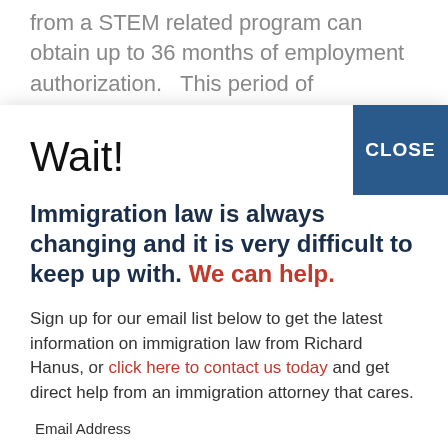from a STEM related program can obtain up to 36 months of employment authorization. This period of employment authorization is crucial for these graduates to secure positions that might be a vehicle toward a long term future in the U.S., including a work visa
Wait!
Immigration law is always changing and it is very difficult to keep up with. We can help.
Sign up for our email list below to get the latest information on immigration law from Richard Hanus, or click here to contact us today and get direct help from an immigration attorney that cares.
Email Address